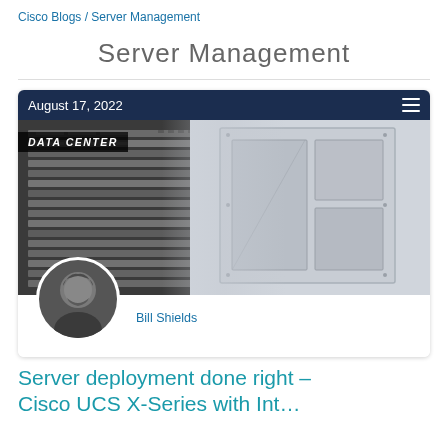Cisco Blogs / Server Management
Server Management
[Figure (screenshot): Blog post card with dark navy top bar showing date 'August 17, 2022', a composite data center/server rack photo with a 'DATA CENTER' badge, author avatar (Bill Shields), and the beginning of the article title.]
Bill Shields
Server deployment done right – Cisco UCS X-Series with Intersight